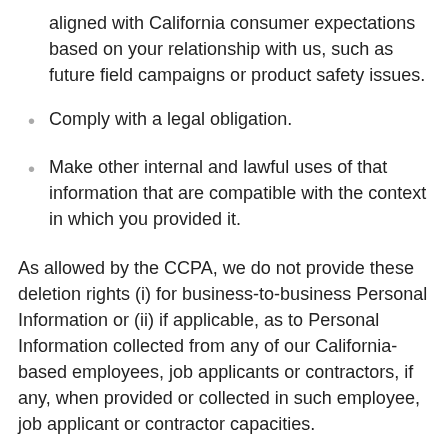aligned with California consumer expectations based on your relationship with us, such as future field campaigns or product safety issues.
Comply with a legal obligation.
Make other internal and lawful uses of that information that are compatible with the context in which you provided it.
As allowed by the CCPA, we do not provide these deletion rights (i) for business-to-business Personal Information or (ii) if applicable, as to Personal Information collected from any of our California-based employees, job applicants or contractors, if any, when provided or collected in such employee, job applicant or contractor capacities.